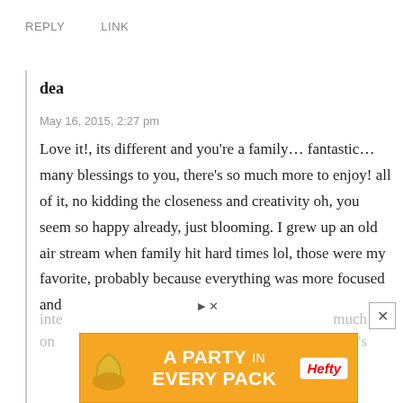REPLY   LINK
dea
May 16, 2015, 2:27 pm
Love it!, its different and you’re a family… fantastic…many blessings to you, there’s so much more to enjoy! all of it, no kidding the closeness and creativity oh, you seem so happy already, just blooming. I grew up an old air stream when family hit hard times lol, those were my favorite, probably because everything was more focused and inte...much on...y's
[Figure (infographic): Orange Hefty advertisement banner: 'A PARTY in EVERY PACK' with Hefty logo and decorative icon]